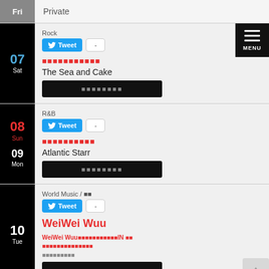Fri  Private
07 Sat | Rock | [Japanese title] | The Sea and Cake | [button text]
08 Sun / 09 Mon | R&B | [Japanese title] | Atlantic Starr | [button text]
10 Tue | World Music / [JP] | WeiWei Wuu | WeiWei Wuu[Japanese]IN [JP][Japanese] | [venue Japanese] | [button text]
11